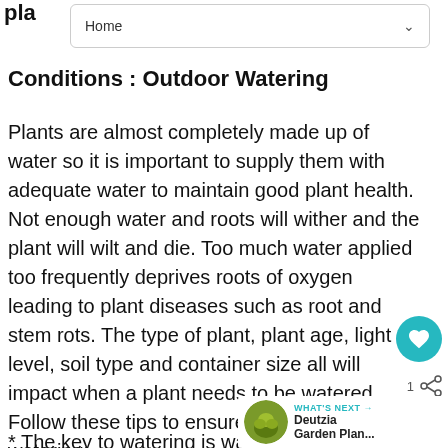pla
Home
Conditions : Outdoor Watering
Plants are almost completely made up of water so it is important to supply them with adequate water to maintain good plant health. Not enough water and roots will wither and the plant will wilt and die. Too much water applied too frequently deprives roots of oxygen leading to plant diseases such as root and stem rots. The type of plant, plant age, light level, soil type and container size all will impact when a plant needs to be watered. Follow these tips to ensure successful watering:
* The key to watering is water deeply and less